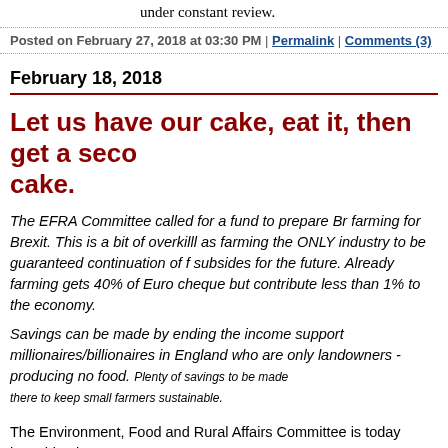under constant review.
Posted on February 27, 2018 at 03:30 PM | Permalink | Comments (3)
February 18, 2018
Let us have our cake, eat it, then get a second cake.
The EFRA Committee called for a fund to prepare British farming for Brexit. This is a bit of overkilll as farming is the ONLY industry to be guaranteed continuation of its subsides for the future. Already farming gets 40% of the Euro cheque but contribute less than 1% to the economy.
Savings can be made by ending the income support to millionaires/billionaires in England who are only landowners - producing no food. Plenty of savings to be made there to keep small farmers sustainable.
The Environment, Food and Rural Affairs Committee is today launching its